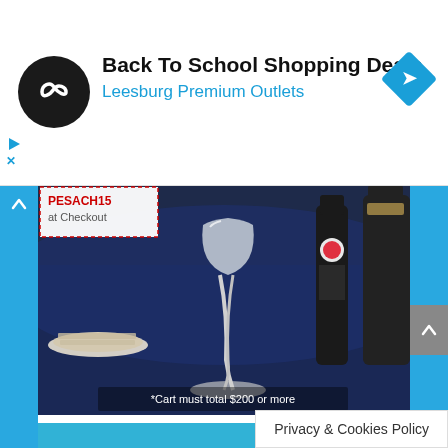[Figure (screenshot): Advertisement banner: Back To School Shopping Deals at Leesburg Premium Outlets, with logo and navigation arrow icon. Small play and close icons on the left side.]
[Figure (photo): Photo of a Passover or Jewish holiday table setting with wine glasses, wine bottles, matzo, and a blue tablecloth. Promo code PESACH15 at Checkout shown. Text overlay: *Cart must total $200 or more]
[Figure (screenshot): Amazon Prime advertisement on a blue background with 'amazon Prime' wordmark, Amazon smile logo, white icon decorations (gifts, truck, stars, hearts), and text 'Give the gift of Prime']
Privacy & Cookies Policy